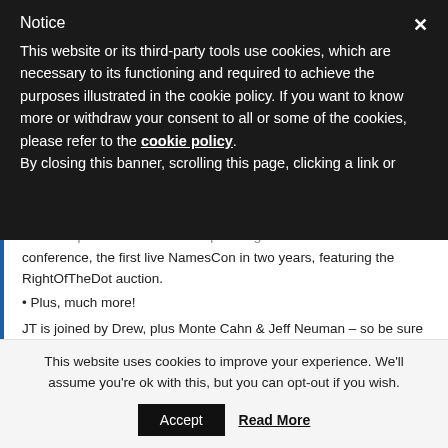Notice
This website or its third-party tools use cookies, which are necessary to its functioning and required to achieve the purposes illustrated in the cookie policy. If you want to know more or withdraw your consent to all or some of the cookies, please refer to the cookie policy.
By closing this banner, scrolling this page, clicking a link or
The Sherpas also discuss the upcoming NamesCon 2022 conference, the first live NamesCon in two years, featuring the RightOfTheDot auction.
Plus, much more!
JT is joined by Drew, plus Monte Cahn & Jeff Neuman – so be sure to tune in!
DomainSherpa   May 19, 2022   2
Domain Sherpa Review – May 5, 2022: Old…
This website uses cookies to improve your experience. We'll assume you're ok with this, but you can opt-out if you wish.
Accept   Read More